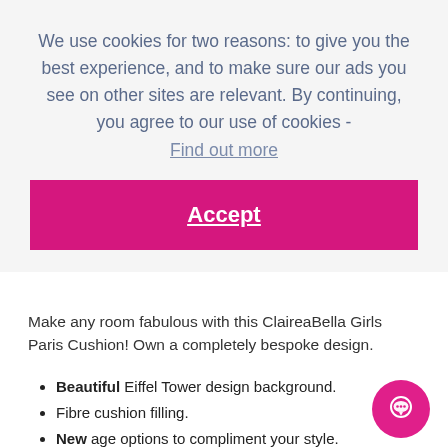We use cookies for two reasons: to give you the best experience, and to make sure our ads you see on other sites are relevant. By continuing, you agree to our use of cookies - Find out more
Accept
Make any room fabulous with this ClaireaBella Girls Paris Cushion! Own a completely bespoke design.
Beautiful Eiffel Tower design background.
Fibre cushion filling.
New age options to compliment your style.